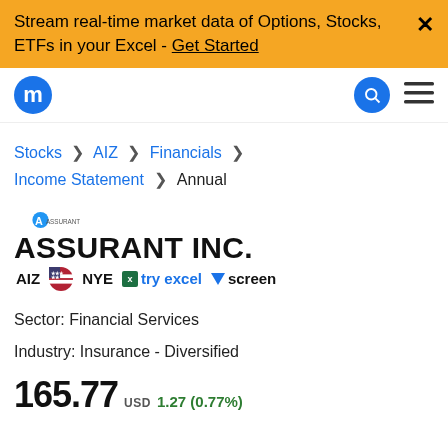Stream real-time market data of Options, Stocks, ETFs in your Excel - Get Started ×
[Figure (logo): Macrotrends 'm' logo circle and navigation icons]
Stocks > AIZ > Financials > Income Statement > Annual
ASSURANT INC.
AIZ 🇺🇸 NYE  try excel  screen
Sector: Financial Services
Industry: Insurance - Diversified
165.77 USD 1.27 (0.77%)